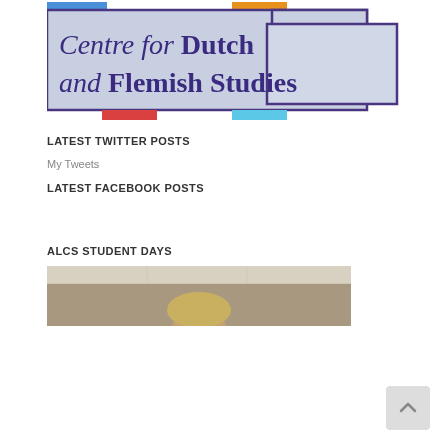[Figure (logo): Centre for Dutch and Flemish Studies logo with coloured accent bars (blue, orange, red, light blue) and text on a light blue/grey background with dark purple border]
LATEST TWITTER POSTS
My Tweets
LATEST FACEBOOK POSTS
ALCS STUDENT DAYS
[Figure (photo): Partial photo showing top of a person's head in an indoor room setting]